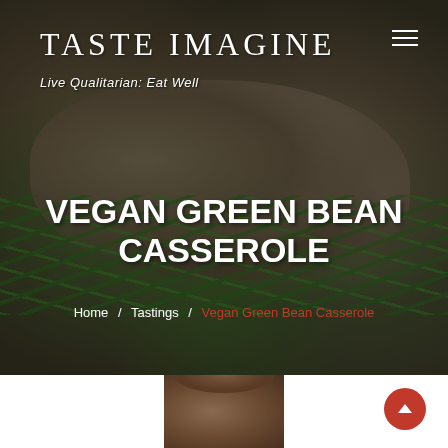[Figure (photo): Hero background photo of vegan green bean casserole in a baking dish, showing green beans topped with sautéed mushrooms, viewed from above in a dark setting]
TASTE IMAGINE
Live Qualitarian: Eat Well
VEGAN GREEN BEAN CASSEROLE
Home / Tastings / Vegan Green Bean Casserole
[Figure (photo): Partial thumbnail preview of a food photo at the bottom of the page]